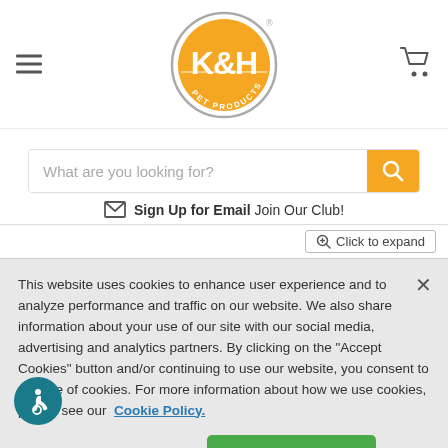[Figure (logo): K&H Pet Products logo — orange circle with white K&H text and grey ring with PET PRODUCTS text]
What are you looking for?
Sign Up for Email Join Our Club!
Click to expand
This website uses cookies to enhance user experience and to analyze performance and traffic on our website. We also share information about your use of our site with our social media, advertising and analytics partners. By clicking on the "Accept Cookies" button and/or continuing to use our website, you consent to our use of cookies. For more information about how we use cookies, please see our Cookie Policy.
Cookie Settings
Accept Cookies